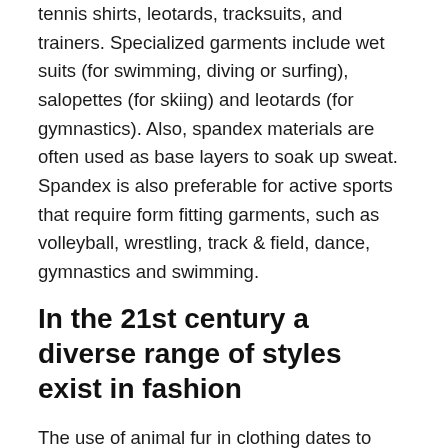tennis shirts, leotards, tracksuits, and trainers. Specialized garments include wet suits (for swimming, diving or surfing), salopettes (for skiing) and leotards (for gymnastics). Also, spandex materials are often used as base layers to soak up sweat. Spandex is also preferable for active sports that require form fitting garments, such as volleyball, wrestling, track & field, dance, gymnastics and swimming.
In the 21st century a diverse range of styles exist in fashion
The use of animal fur in clothing dates to prehistoric times. It is currently associated in developed countries with expensive, designer clothing, although fur is still used by indigenous people in arctic zones and higher elevations for its warmth and protection. Once uncontroversial, it has recently been the focus of campaigns on the grounds that campaigners consider it cruel and unnecessary. PETA, along with other animal